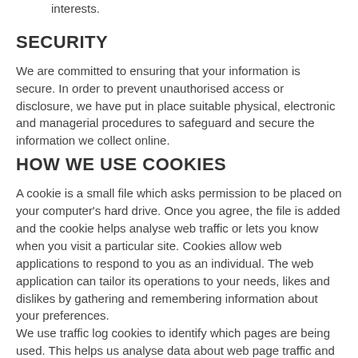interests.
SECURITY
We are committed to ensuring that your information is secure. In order to prevent unauthorised access or disclosure, we have put in place suitable physical, electronic and managerial procedures to safeguard and secure the information we collect online.
HOW WE USE COOKIES
A cookie is a small file which asks permission to be placed on your computer's hard drive. Once you agree, the file is added and the cookie helps analyse web traffic or lets you know when you visit a particular site. Cookies allow web applications to respond to you as an individual. The web application can tailor its operations to your needs, likes and dislikes by gathering and remembering information about your preferences.
We use traffic log cookies to identify which pages are being used. This helps us analyse data about web page traffic and improve our website in order to tailor it to customer needs. We only use this information for statistical analysis purposes and then the data is removed from the system.
Overall, cookies help us provide you with a better website, by